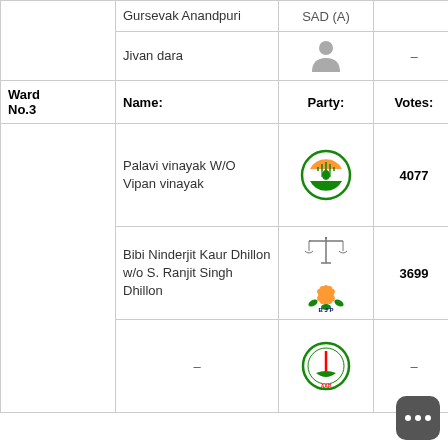| Ward No. | Name: | Party: | Votes: | Status: |
| --- | --- | --- | --- | --- |
|  | Gursevak Anandpuri | SAD (A) |  |  |
|  | Jivan dara | [person icon] | – | – |
| Ward No.3 | Name: | Party: | Votes: | Status: |
|  | Palavi vinayak W/O Vipan vinayak | INC | 4077 | WON |
|  | Bibi Ninderjit Kaur Dhillon w/o S. Ranjit Singh Dhillon | Scales / BJP | 3699 | – |
|  | – | AAP | – | – |